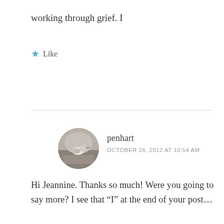working through grief. I
★ Like
[Figure (photo): Circular avatar photo of a small bird standing on a rock, gray-brown tones]
penhart
OCTOBER 26, 2012 AT 10:54 AM
Hi Jeannine. Thanks so much! Were you going to say more? I see that “I” at the end of your post…
Writing the poems in my chapbook *Recycling Starlight* during the first 18 months of grieving really helped me heal. And the ones in my new e-book “One Bowl” (linked from my blog)